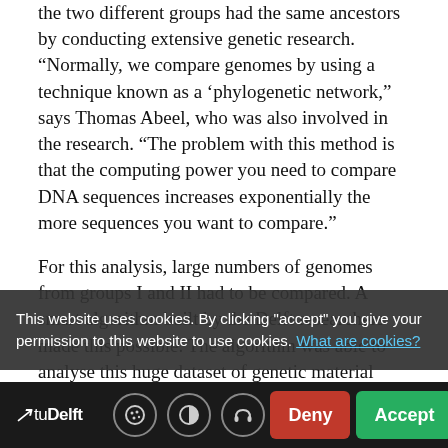the two different groups had the same ancestors by conducting extensive genetic research. “Normally, we compare genomes by using a technique known as a ‘phylogenetic network,” says Thomas Abeel, who was also involved in the research. “The problem with this method is that the computing power you need to compare DNA sequences increases exponentially the more sequences you want to compare.”
For this analysis, large numbers of genomes from groups I and II had to be compared. A smart algorithm built by the Delft researchers made this possible. The algorithm was able to analyse this huge dataset of genetic material from a large group of yeasts collected by the researchers. “That enabled us to compile a kind of genetic map of pilsner yeast on which we were able
This website uses cookies. By clicking "accept" you give your permission to this website to use cookies. What are cookies?
TUDelft  [Deny]  [Accept]